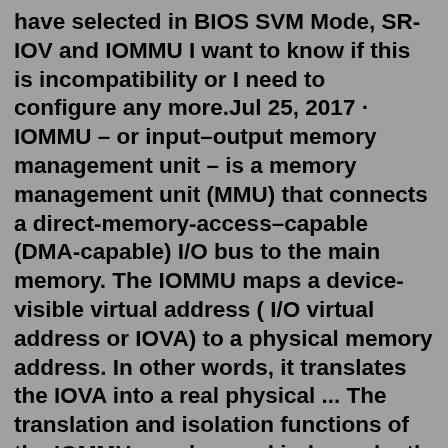have selected in BIOS SVM Mode, SR-IOV and IOMMU I want to know if this is incompatibility or I need to configure any more.Jul 25, 2017 · IOMMU – or input–output memory management unit – is a memory management unit (MMU) that connects a direct-memory-access–capable (DMA-capable) I/O bus to the main memory. The IOMMU maps a device-visible virtual address ( I/O virtual address or IOVA) to a physical memory address. In other words, it translates the IOVA into a real physical ... The translation and isolation functions of the IOMMU may be used independently of hardware or software virtualization; however, these facilities are a natural extension to virtu- alization. The AMD IOMMU is configured as a capabil- ity of a bridge or device which may be Hyper- Transport or PCI based.IOMMU is a system specific IO mapping mechanism and can be used with most devices. IOMMU sounds like a generic name for Intel VT-d and AMD IOV. In which case I don't think you can